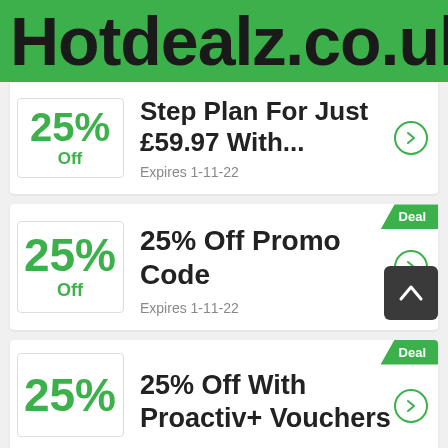Hotdealz.co.uk
25% Off Step Plan For Just £59.97 With... Expires 1-11-22
25% Off Promo Code Expires 1-11-22
25% Off With Proactiv+ Vouchers